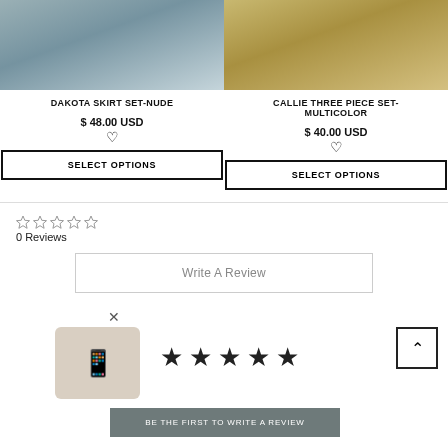[Figure (photo): Left product photo: fashion model wearing Dakota Skirt Set in nude color]
[Figure (photo): Right product photo: Callie Three Piece Set in multicolor, showing lower body near hay bale]
DAKOTA SKIRT SET-NUDE
$ 48.00 USD
SELECT OPTIONS
CALLIE THREE PIECE SET-MULTICOLOR
$ 40.00 USD
SELECT OPTIONS
0 Reviews
Write A Review
BE THE FIRST TO WRITE A REVIEW